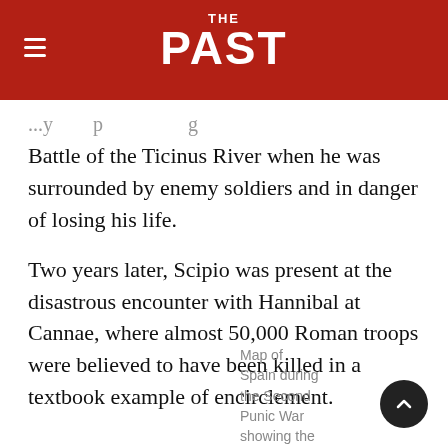THE PAST
Battle of the Ticinus River when he was surrounded by enemy soldiers and in danger of losing his life.
Two years later, Scipio was present at the disastrous encounter with Hannibal at Cannae, where almost 50,000 Roman troops were believed to have been killed in a textbook example of encirclement.
Map of Spain during the Second Punic War showing the sites of major